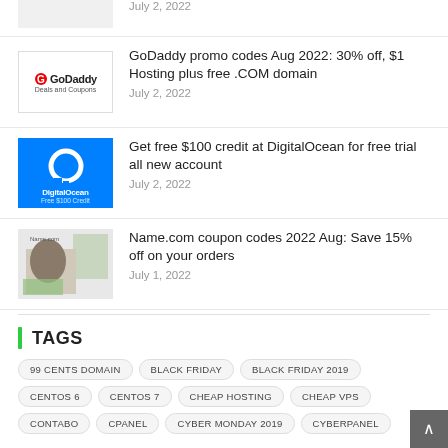July 2, 2022
GoDaddy promo codes Aug 2022: 30% off, $1 Hosting plus free .COM domain
July 2, 2022
Get free $100 credit at DigitalOcean for free trial all new account
July 2, 2022
Name.com coupon codes 2022 Aug: Save 15% off on your orders
July 1, 2022
TAGS
99 CENTS DOMAIN
BLACK FRIDAY
BLACK FRIDAY 2019
CENTOS 6
CENTOS 7
CHEAP HOSTING
CHEAP VPS
CONTABO
CPANEL
CYBER MONDAY 2019
CYBERPANEL